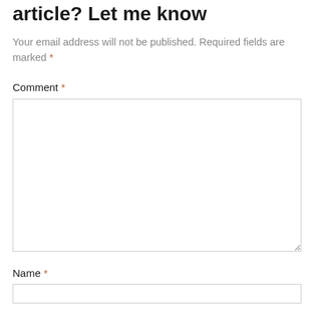article? Let me know
Your email address will not be published. Required fields are marked *
Comment *
[Figure (other): Large empty textarea input box for comment submission]
Name *
[Figure (other): Single-line text input box for name]